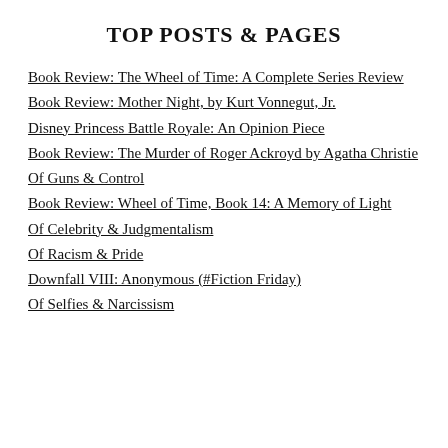TOP POSTS & PAGES
Book Review: The Wheel of Time: A Complete Series Review
Book Review: Mother Night, by Kurt Vonnegut, Jr.
Disney Princess Battle Royale: An Opinion Piece
Book Review: The Murder of Roger Ackroyd by Agatha Christie
Of Guns & Control
Book Review: Wheel of Time, Book 14: A Memory of Light
Of Celebrity & Judgmentalism
Of Racism & Pride
Downfall VIII: Anonymous (#Fiction Friday)
Of Selfies & Narcissism